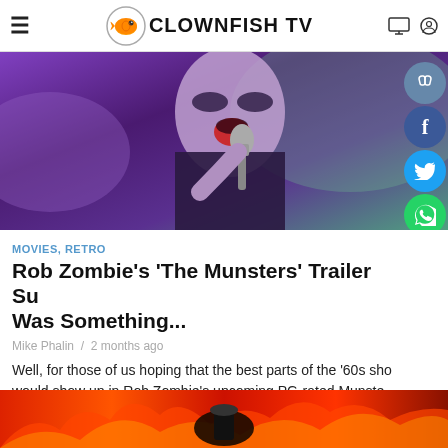CLOWNFISH TV
[Figure (photo): A person with dramatic makeup singing into a microphone against a colorful purple and green background]
MOVIES, RETRO
Rob Zombie's 'The Munsters' Trailer Su... Was Something...
Mike Phalin / 2 months ago
Well, for those of us hoping that the best parts of the '60s sho... would show up in Rob Zombie's upcoming PG-rated Munste... movie, I may...
[Figure (photo): Bottom image with orange and red flames or fire imagery]